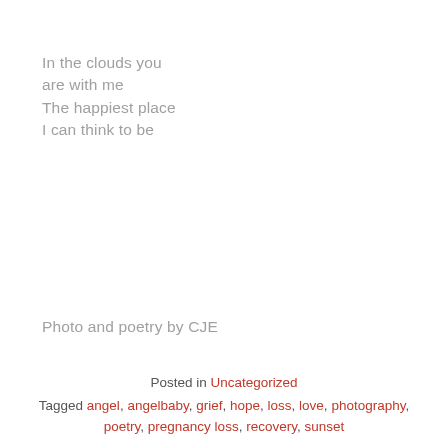In the clouds you
are with me
The happiest place
I can think to be
Photo and poetry by CJE
Posted in Uncategorized
Tagged angel, angelbaby, grief, hope, loss, love, photography, poetry, pregnancy loss, recovery, sunset
Leave a comment